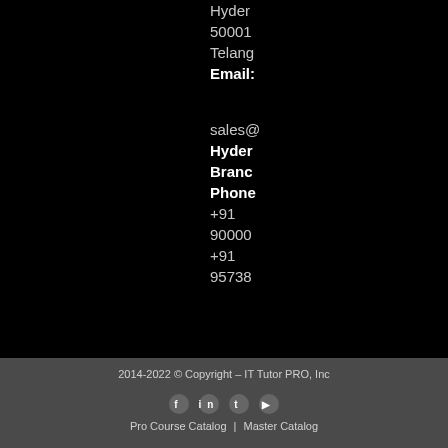Hydera
50001
Telang
Email:
sales@
Hyder
Branc
Phone
+91
90000
+91
95738
2014-2022 © Copyright – IT Tutor PRO, Inc
Pro Course Catalog | Master Catalog